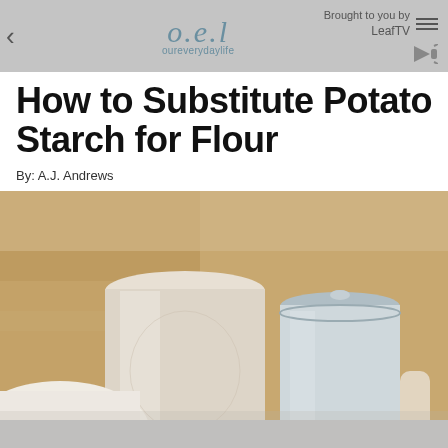oel oureverydaylife | Brought to you by LeafTV
How to Substitute Potato Starch for Flour
By: A.J. Andrews
[Figure (photo): Close-up photo of white ceramic kitchen canisters and bowls on a wooden surface, soft focus background]